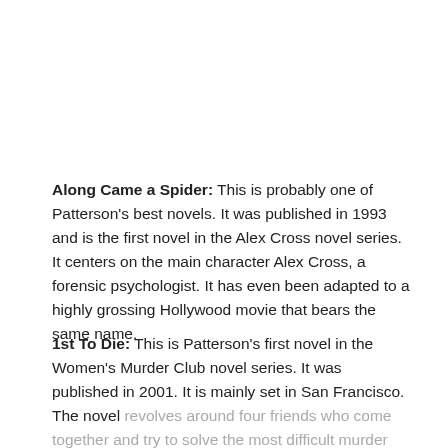Along Came a Spider: This is probably one of Patterson's best novels. It was published in 1993 and is the first novel in the Alex Cross novel series. It centers on the main character Alex Cross, a forensic psychologist. It has even been adapted to a highly grossing Hollywood movie that bears the same name.
1st To Die: This is Patterson's first novel in the Women's Murder Club novel series. It was published in 2001. It is mainly set in San Francisco. The novel revolves around four friends who come together and try to solve the most difficult murder cases in the American